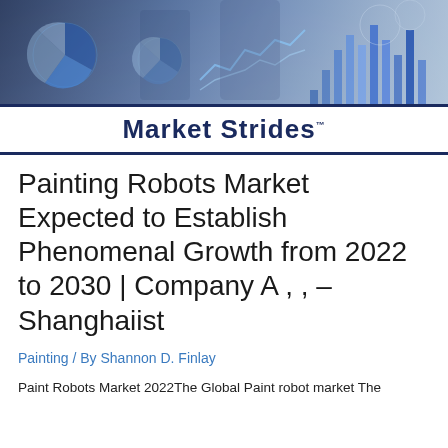[Figure (photo): Market Strides logo banner with business analytics charts and people working in background]
Painting Robots Market Expected to Establish Phenomenal Growth from 2022 to 2030 | Company A , , – Shanghaiist
Painting / By Shannon D. Finlay
Paint Robots Market 2022The Global Paint robot market The